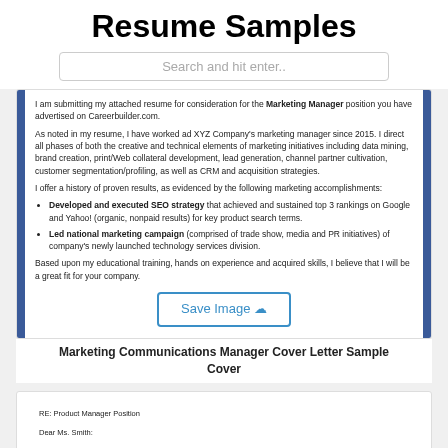Resume Samples
Search and hit enter..
[Figure (screenshot): Partial cover letter screenshot with blue left border. Text: I am submitting my attached resume for consideration for the Marketing Manager position you have advertised on Careerbuilder.com. As noted in my resume, I have worked ad XYZ Company's marketing manager since 2015. I direct all phases of both the creative and technical elements of marketing initiatives including data mining, brand creation, print/Web collateral development, lead generation, channel partner cultivation, customer segmentation/profiling, as well as CRM and acquisition strategies. I offer a history of proven results, as evidenced by the following marketing accomplishments: Developed and executed SEO strategy that achieved and sustained top 3 rankings on Google and Yahoo! (organic, nonpaid results) for key product search terms. Led national marketing campaign (comprised of trade show, media and PR initiatives) of company's newly launched technology services division. Based upon my educational training, hands on experience and acquired skills, I believe that I will be a great fit for your company.]
Marketing Communications Manager Cover Letter Sample Cover
[Figure (screenshot): Partial cover letter screenshot. RE: Product Manager Position. Dear Ms. Smith: I am extremely interested in the Product Manager position. My enclosed resume reflects both my 3 years of experience at Twitter as a Product Manager and my MBA from Carnegie Mellon University. After receiving my MBA I was part of the core team at Twitter that built out the proprietary search advertising platform. The following highlights my qualifications: Coordinated and directed several key projects at Twitter, making detailed implementation plans to accomplish goals and directing the integration of technical activities.]